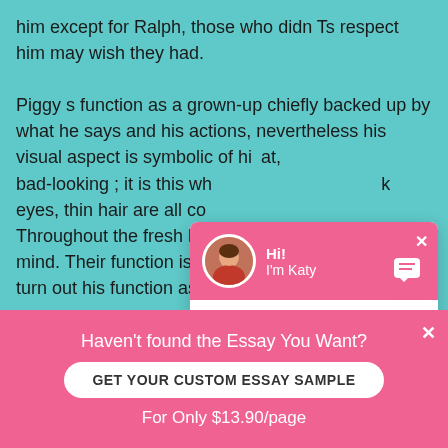him except for Ralph, those who didn Ts respect him may wish they had.

Piggy s function as a grown-up chiefly backed up by what he says and his actions, nevertheless his visual aspect is symbolic of hi... at, bad-looking ; it is this wh... deficiency of regard for ... k eyes, thin hair are all co... Throughout the fresh his... fy mind. Their function is s... lp turn out his function as a...
[Figure (screenshot): Chat popup with pink header showing avatar of Katy, saying Hi! I'm Katy. Body asks: Would you like to get such a paper? How about receiving a customized one? With Check it out link.]
Haven't found the Essay You Want?
GET YOUR CUSTOM ESSAY SAMPLE
For Only $13.90/page